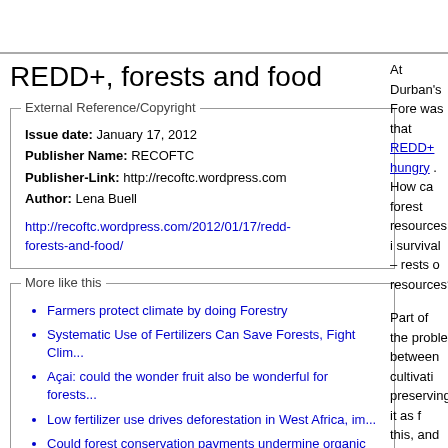REDD+, forests and food
| Issue date: | January 17, 2012 |
| Publisher Name: | RECOFTC |
| Publisher-Link: | http://recoftc.wordpress.com |
| Author: | Lena Buell |
|  | http://recoftc.wordpress.com/2012/01/17/redd-forests-and-food/ |
Farmers protect climate by doing Forestry
Systematic Use of Fertilizers Can Save Forests, Fight Clim...
Açai: could the wonder fruit also be wonderful for forests...
Low fertilizer use drives deforestation in West Africa, im...
Could forest conservation payments undermine organic agric...
At Durban's Fore was that REDD+ hungry . How ca forest resources i survival – rests o resources? Part of the proble between cultivati preserving it as f this, and other op people, in the late we point out that carbon offsets si prices for crops li However, a new s production in th over the past dec been matched by seemingly a cont to cut down more agriculture? What's happenin